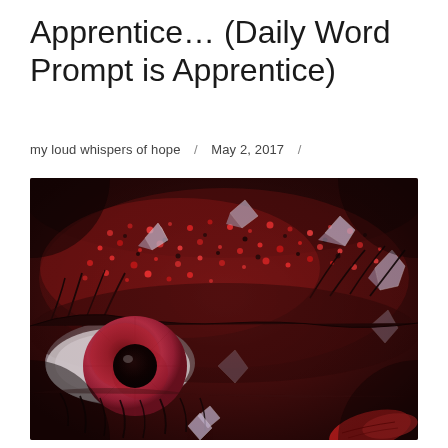Apprentice… (Daily Word Prompt is Apprentice)
my loud whispers of hope  /  May 2, 2017  /
[Figure (photo): Close-up macro photo of a human eye with red/crimson iris, covered in red glitter and scattered crystal/diamond fragments on the eyelid. Dark lashes, red glittery eye makeup, with glass-like shards and a hint of red butterfly wing at the bottom right. Deep red and dark tones throughout.]